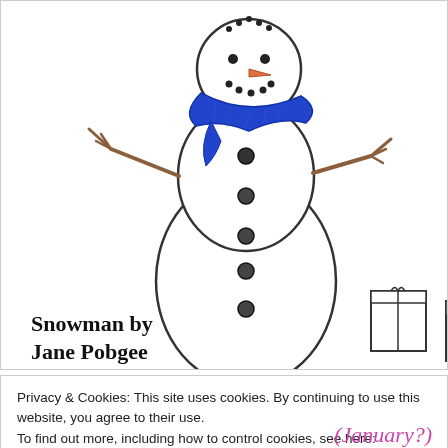[Figure (illustration): Hand-drawn illustration of a snowman with a blue scarf, stick arms, black button eyes and mouth, carrot nose, and black buttons down the body. Several wrapped gift boxes with ribbons are at the snowman's base.]
Snowman by Jane Pobgee
Privacy & Cookies: This site uses cookies. By continuing to use this website, you agree to their use.
To find out more, including how to control cookies, see here:
Our Cookie Policy
Close and accept
(January?)